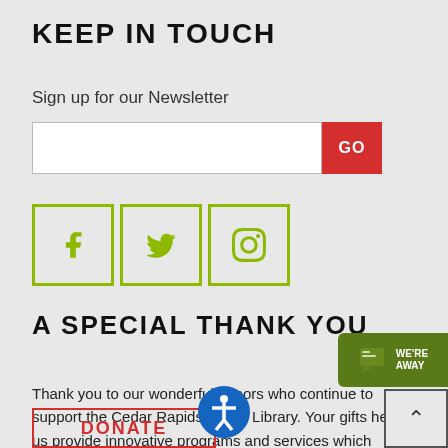KEEP IN TOUCH
Sign up for our Newsletter
[Figure (other): Email newsletter signup input field with red GO button]
[Figure (other): Three social media icon buttons (Facebook, Twitter, Instagram) in olive/yellow-green bordered boxes]
A SPECIAL THANK YOU
[Figure (other): Green We're Away chat button on right side]
Thank you to our wonderful donors who continue to support the Cedar Rapids Public Library. Your gifts help us provide innovative programs and services which impact our community.
[Figure (other): Red bordered DONATE button at bottom left]
[Figure (other): Blue accessibility icon (person in circle) at bottom center]
[Figure (other): Back to top button with upward chevron at bottom right]